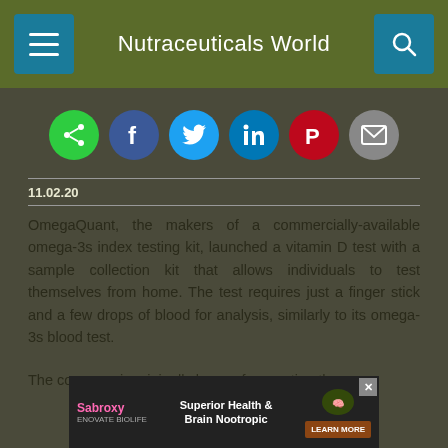Nutraceuticals World
[Figure (infographic): Row of six social sharing icons: share (green), Facebook (dark blue), Twitter (light blue), LinkedIn (blue), Pinterest (red/dark), email (gray)]
11.02.20
OmegaQuant, the makers of a commercially-available omega-3s index testing kit, launched a vitamin D test with a sample collection kit that allows individuals to test themselves from home. The test requires just a finger stick and a few drops of blood for analysis, similarly to its omega-3s blood test.
The company is originally known for creating the
[Figure (screenshot): Advertisement banner for Sabroxy Superior Health & Brain Nootropic by Enovate Biolife, with a learn more button]